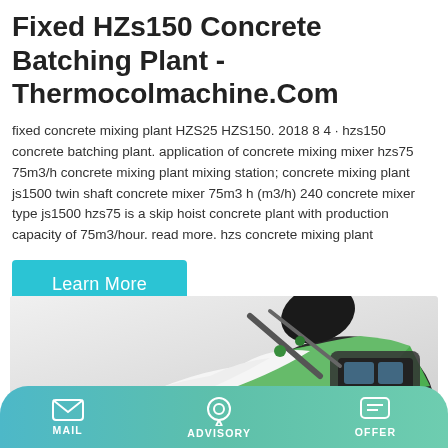Fixed HZs150 Concrete Batching Plant - Thermocolmachine.Com
fixed concrete mixing plant HZS25 HZS150. 2018 8 4 · hzs150 concrete batching plant. application of concrete mixing mixer hzs75 75m3/h concrete mixing plant mixing station; concrete mixing plant js1500 twin shaft concrete mixer 75m3 h (m3/h) 240 concrete mixer type js1500 hzs75 is a skip hoist concrete plant with production capacity of 75m3/hour. read more. hzs concrete mixing plant
[Figure (other): Button labeled Learn More with cyan background]
[Figure (photo): Photo of a green concrete mixer truck with black drum, showing the upper portion of the vehicle against a light gray background]
MAIL  ADVISORY  OFFER